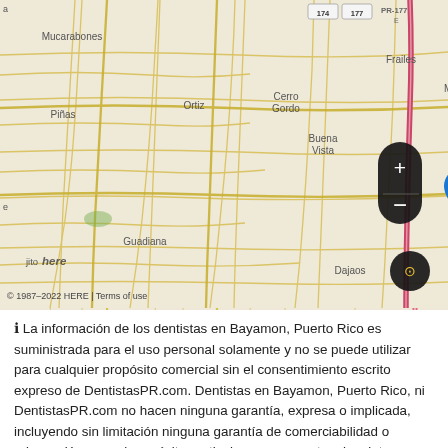[Figure (map): Interactive HERE map showing Bayamon, Puerto Rico area with location pin. Shows neighborhoods: Mucarabones, Ortiz, Cerro Gordo, Minillas, Frailes, Piñas, Buena Vista, Guaraguao Abajo, Guaynabo, Guadiana, Santa Olaya, Guaraguao, Hato Nuevo, Dajaos, Guaraguao Arriba. Roads labeled 174, 177, PR-177E, 169. Scale bar showing 5 km. Zoom controls (+/-) visible. Map layer button visible. Copyright 1987-2022 HERE | Terms of use.]
ℹ La información de los dentistas en Bayamon, Puerto Rico es suministrada para el uso personal solamente y no se puede utilizar para cualquier propósito comercial sin el consentimiento escrito expreso de DentistasPR.com. Dentistas en Bayamon, Puerto Rico, ni DentistasPR.com no hacen ninguna garantía, expresa o implicada, incluyendo sin limitación ninguna garantía de comerciabilidad o adecuación para el propósito particular, con respecto a los datos presentados aquí. Toda la información